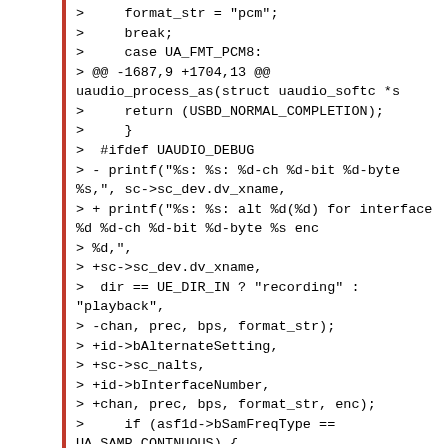>     format_str = "pcm";
>     break;
>     case UA_FMT_PCM8:
> @@ -1687,9 +1704,13 @@ uaudio_process_as(struct uaudio_softc *s
>     return (USBD_NORMAL_COMPLETION);
>     }
>  #ifdef UAUDIO_DEBUG
> - printf("%s: %s: %d-ch %d-bit %d-byte %s,", sc->sc_dev.dv_xname,
> + printf("%s: %s: alt %d(%d) for interface %d %d-ch %d-bit %d-byte %s enc
> %d,",
> +sc->sc_dev.dv_xname,
>   dir == UE_DIR_IN ? "recording" : "playback",
> -chan, prec, bps, format_str);
> +id->bAlternateSetting,
> +sc->sc_nalts,
> +id->bInterfaceNumber,
> +chan, prec, bps, format_str, enc);
>     if (asf1d->bSamFreqType == UA_SAMP_CONTNUOUS) {